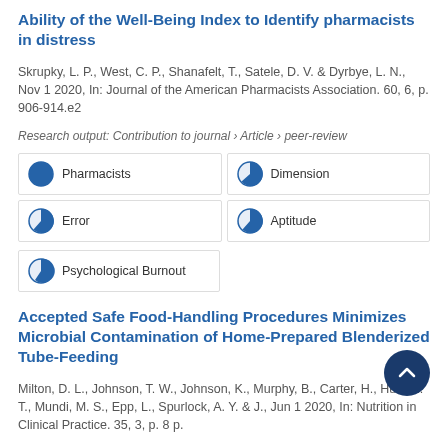Ability of the Well-Being Index to Identify pharmacists in distress
Skrupky, L. P., West, C. P., Shanafelt, T., Satele, D. V. & Dyrbye, L. N., Nov 1 2020, In: Journal of the American Pharmacists Association. 60, 6, p. 906-914.e2
Research output: Contribution to journal › Article › peer-review
[Figure (infographic): Five keyword badges with circular pie-chart icons showing percentage fills: Pharmacists (100%), Dimension (75%), Error (70%), Aptitude (70%), Psychological Burnout (65%)]
Accepted Safe Food-Handling Procedures Minimizes Microbial Contamination of Home-Prepared Blenderized Tube-Feeding
Milton, D. L., Johnson, T. W., Johnson, K., Murphy, B., Carter, H., Hurt, R. T., Mundi, M. S., Epp, L., Spurlock, A. Y. & J., Jun 1 2020, In: Nutrition in Clinical Practice. 35, 3, p. 8 p.
Research output: Contribution to journal › Article › peer-review